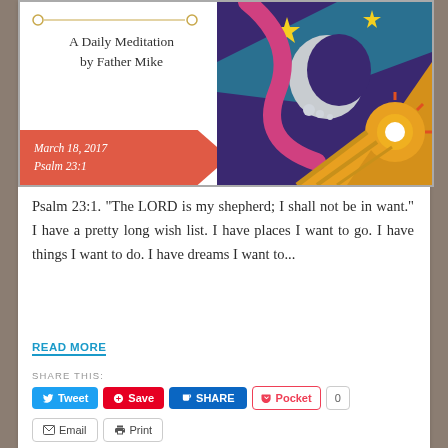[Figure (illustration): Book cover for 'A Daily Meditation by Father Mike' dated March 18, 2017 Psalm 23:1. Left side has white background with decorative line, title text, and red banner. Right side has colorful abstract art with moon, stars, and sun motifs.]
Psalm 23:1. "The LORD is my shepherd; I shall not be in want." I have a pretty long wish list. I have places I want to go. I have things I want to do. I have dreams I want to...
READ MORE
SHARE THIS:
Tweet
Save
SHARE
Pocket
0
Email
Print